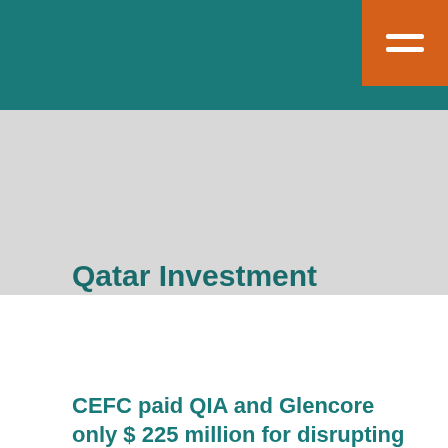Qatar Investment Authority
Tweet  Share
CEFC paid QIA and Glencore only $ 225 million for disrupting the transaction on